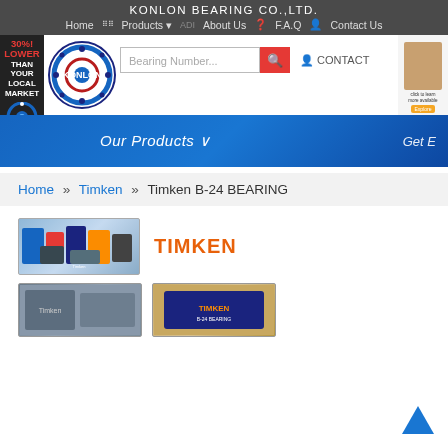KONLON BEARING CO.,LTD.
Home  Products  About Us  F.A.Q  Contact Us
[Figure (logo): Konlon Bearing circular logo with bearing ring design and KONLON text]
[Figure (screenshot): Search bar with Bearing Number placeholder and red search button, CONTACT label]
[Figure (infographic): Blue banner with Our Products dropdown text and Get E text on right]
Home » Timken » Timken B-24 BEARING
TIMKEN
[Figure (photo): Timken branded bearing products image]
[Figure (photo): Timken bearing products on shelf]
[Figure (photo): Timken bearing box product image]